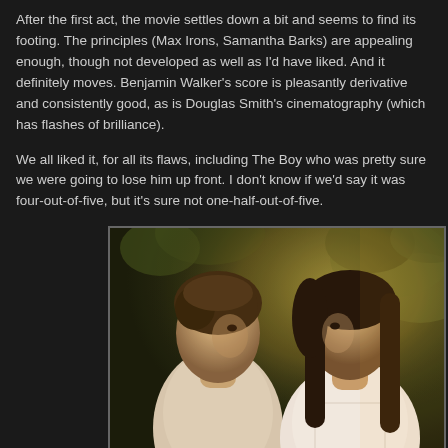After the first act, the movie settles down a bit and seems to find its footing. The principles (Max Irons, Samantha Barks) are appealing enough, though not developed as well as I'd have liked. And it definitely moves. Benjamin Walker's score is pleasantly derivative and consistently good, as is Douglas Smith's cinematography (which has flashes of brilliance).
We all liked it, for all its flaws, including The Boy who was pretty sure we were going to lose him up front. I don't know if we'd say it was four-out-of-five, but it's sure not one-half-out-of-five.
[Figure (photo): A warm-lit outdoor scene showing two people facing each other closely — a young man on the left with tousled hair wearing a light linen shirt, and a woman on the right with long dark hair wearing a white embroidered top. Bokeh green foliage background with golden sunlight.]